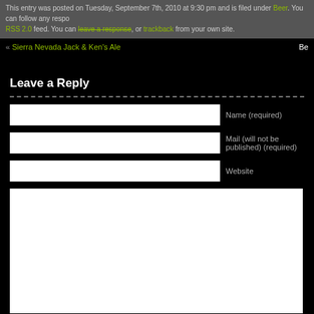This entry was posted on Tuesday, September 7th, 2010 at 9:30 pm and is filed under Beer. You can follow any responses to this entry through the RSS 2.0 feed. You can leave a response, or trackback from your own site.
« Sierra Nevada Jack & Ken's Ale
Leave a Reply
Name (required)
Mail (will not be published) (required)
Website
Submit Comment